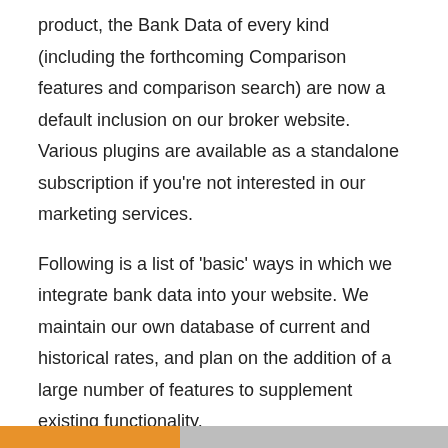product, the Bank Data of every kind (including the forthcoming Comparison features and comparison search) are now a default inclusion on our broker website. Various plugins are available as a standalone subscription if you're not interested in our marketing services.
Following is a list of 'basic' ways in which we integrate bank data into your website. We maintain our own database of current and historical rates, and plan on the addition of a large number of features to supplement existing functionality.